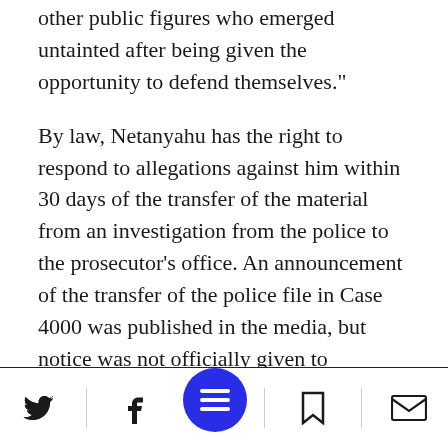other public figures who emerged untainted after being given the opportunity to defend themselves."
By law, Netanyahu has the right to respond to allegations against him within 30 days of the transfer of the material from an investigation from the police to the prosecutor's office. An announcement of the transfer of the police file in Case 4000 was published in the media, but notice was not officially given to Netanyahu until January 17, meaning that the 30-day period would expire on February 16.
[Figure (other): Social sharing bottom toolbar with Twitter, Facebook, hamburger menu (blue circle), bookmark, and mail icons]